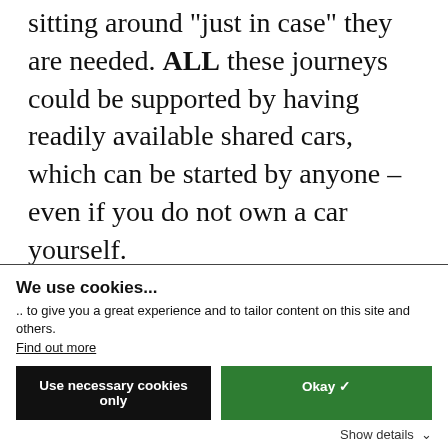sitting around "just in case" they are needed. ALL these journeys could be supported by having readily available shared cars, which can be started by anyone – even if you do not own a car yourself.

The potential environmental impact of this is huge. In London alone, 300,000 private cars could be replaced by adding a further 21,000 shared vehicles to the existing fleet
We use cookies...
.. to give you a great experience and to tailor content on this site and others.
Find out more
[Use necessary cookies only] [Okay ✓]
Show details ▾